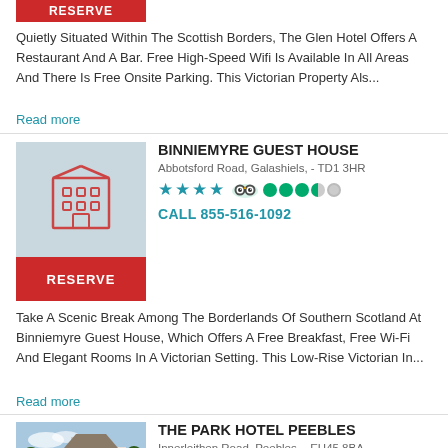[Figure (other): Red RESERVE button (partial, top of page)]
Quietly Situated Within The Scottish Borders, The Glen Hotel Offers A Restaurant And A Bar. Free High-Speed Wifi Is Available In All Areas And There Is Free Onsite Parking. This Victorian Property Als...
Read more
[Figure (illustration): Hotel building icon in light blue-grey background]
BINNIEMYRE GUEST HOUSE
Abbotsford Road, Galashiels, - TD1 3HR
[Figure (other): 4 blue stars, TripAdvisor owl logo, 3.5 green circles rating]
CALL 855-516-1092
[Figure (other): Red RESERVE button]
Take A Scenic Break Among The Borderlands Of Southern Scotland At Binniemyre Guest House, Which Offers A Free Breakfast, Free Wi-Fi And Elegant Rooms In A Victorian Setting. This Low-Rise Victorian In...
Read more
[Figure (photo): Photo of The Park Hotel Peebles building exterior with trees]
THE PARK HOTEL PEEBLES
Innerleithen Road, Peebles, - EH45 8BA
[Figure (other): 3 blue stars, TripAdvisor owl logo, 4 green circles rating]